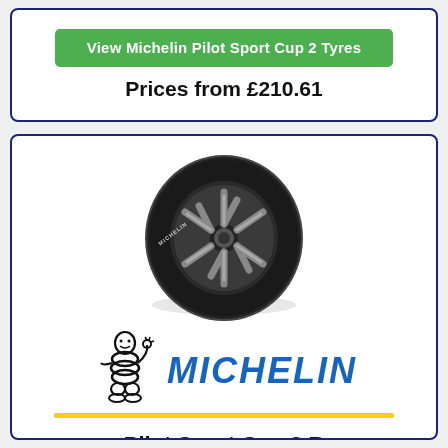View Michelin Pilot Sport Cup 2 Tyres
Prices from £210.61
[Figure (photo): Michelin Pilot Sport Cup 2 R tyre product image showing a black performance tyre with alloy wheel, viewed at an angle]
[Figure (logo): Michelin logo: Bibendum (Michelin Man) mascot figure on left, MICHELIN text in bold blue italic letters on right, yellow underline bar below]
Pilot Sport Cup 2 R